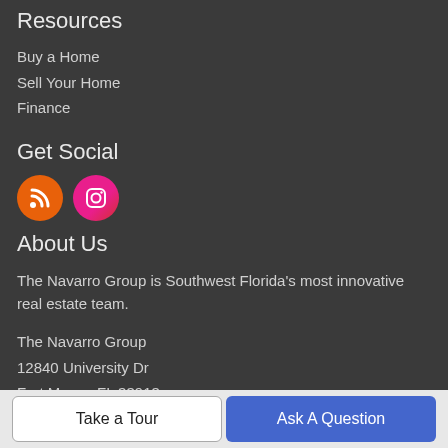Resources
Buy a Home
Sell Your Home
Finance
Get Social
[Figure (illustration): Two social media icons: an orange RSS feed circle and a pink/magenta Instagram circle]
About Us
The Navarro Group is Southwest Florida's most innovative real estate team.
The Navarro Group
12840 University Dr
Fort Myers, FL 33913
Take a Tour
Ask A Question